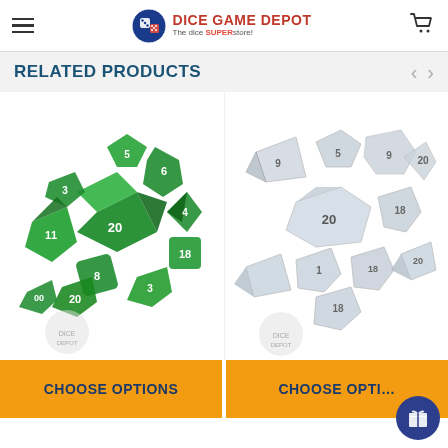DICE GAME DEPOT - The dice SUPERstore!
RELATED PRODUCTS
[Figure (photo): A set of green translucent polyhedral dice scattered on white background, showing various face numbers including 20, 12, 10, 8, 6, 4, and percentile dice.]
[Figure (photo): A set of clear/transparent polyhedral dice scattered on white background, showing various face numbers including 20, 12, 10, 8, 6, 4 dice.]
CHOOSE OPTIONS
CHOOSE OPTIONS